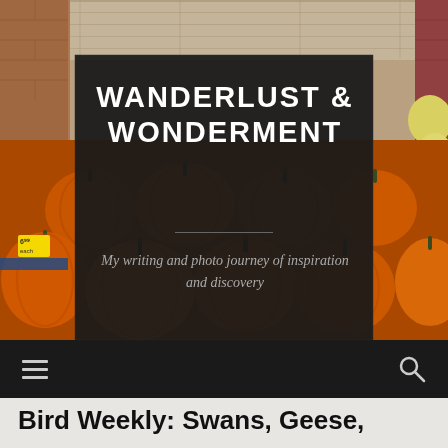[Figure (photo): A display of orange pumpkins and gourds at what appears to be a market or store entrance, with stone and brick walls visible. Pumpkins fill the lower portion of the image with yellow/white gourds on the right side.]
WANDERLUST & WONDERMENT
My writing and photo journey of inspiration and discovery
≡    🔍
Bird Weekly: Swans, Geese,